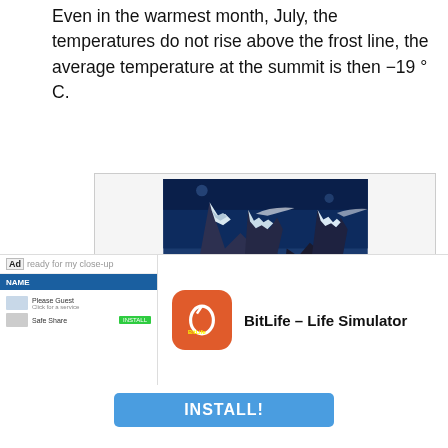Even in the warmest month, July, the temperatures do not rise above the frost line, the average temperature at the summit is then −19 ° C.
[Figure (photo): Mountain photograph showing cloud flags from Mount Everest and Lhotse, with Ama Dablam visible on the right. Snow-capped peaks against a deep blue sky.]
Cloud flags from Mount Everest and Lhotse , on the right Ama Dablam
In winter and spring, winds from western directions prevail. The moisture-laden air condenses into a white, east-facing
[Figure (screenshot): Ad overlay for BitLife - Life Simulator app, showing an app icon, app name 'BitLife - Life Simulator', and an INSTALL! button.]